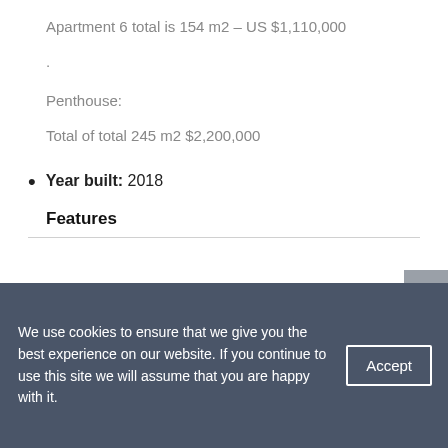Apartment 6 total is 154 m2 – US $1,110,000
.
Penthouse:
Total of total 245 m2 $2,200,000
Year built: 2018
Features
We use cookies to ensure that we give you the best experience on our website. If you continue to use this site we will assume that you are happy with it.